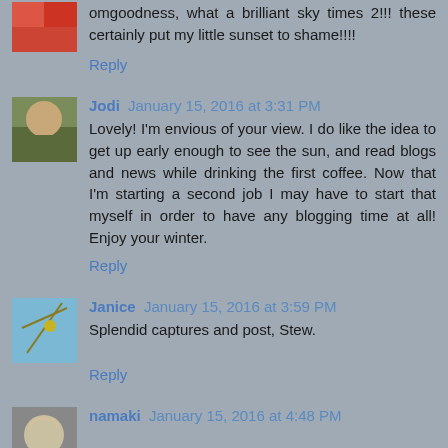omgoodness, what a brilliant sky times 2!!! these certainly put my little sunset to shame!!!!
Reply
Jodi January 15, 2016 at 3:31 PM
Lovely! I'm envious of your view. I do like the idea to get up early enough to see the sun, and read blogs and news while drinking the first coffee. Now that I'm starting a second job I may have to start that myself in order to have any blogging time at all! Enjoy your winter.
Reply
Janice January 15, 2016 at 3:59 PM
Splendid captures and post, Stew.
Reply
namaki January 15, 2016 at 4:48 PM